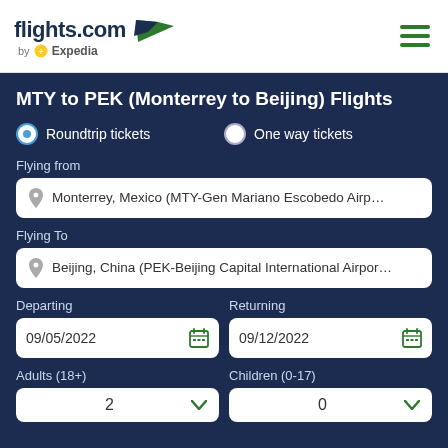[Figure (logo): flights.com by Expedia logo with green wing/arrow graphic]
MTY to PEK (Monterrey to Beijing) Flights
Roundtrip tickets (selected) | One way tickets
Flying from
Monterrey, Mexico (MTY-Gen Mariano Escobedo Airp…
Flying To
Beijing, China (PEK-Beijing Capital International Airpor…
Departing: 09/05/2022 | Returning: 09/12/2022
Adults (18+): 2 | Children (0-17): 0